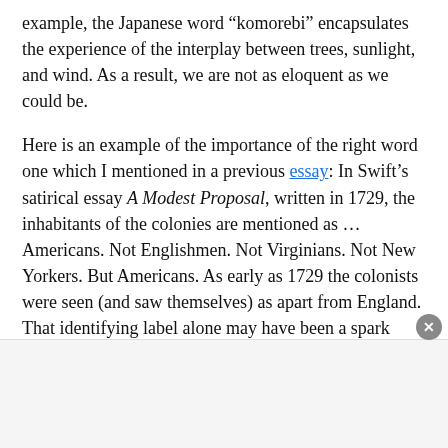example, the Japanese word “komorebi” encapsulates the experience of the interplay between trees, sunlight, and wind. As a result, we are not as eloquent as we could be.
Here is an example of the importance of the right word one which I mentioned in a previous essay: In Swift’s satirical essay A Modest Proposal, written in 1729, the inhabitants of the colonies are mentioned as … Americans. Not Englishmen. Not Virginians. Not New Yorkers. But Americans. As early as 1729 the colonists were seen (and saw themselves) as apart from England. That identifying label alone may have been a spark towards the consideration for independence. In 1777, when Fort Ticonderoga fell to British forces, King George III clapped his hands and